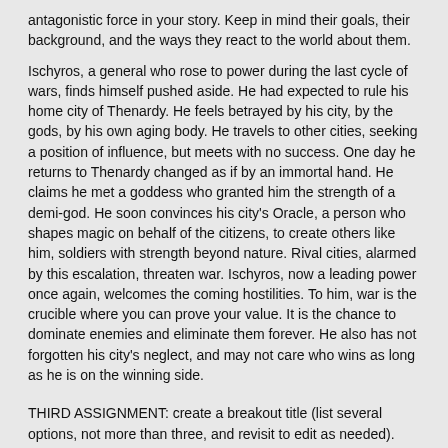antagonistic force in your story. Keep in mind their goals, their background, and the ways they react to the world about them.
Ischyros, a general who rose to power during the last cycle of wars, finds himself pushed aside. He had expected to rule his home city of Thenardy. He feels betrayed by his city, by the gods, by his own aging body. He travels to other cities, seeking a position of influence, but meets with no success. One day he returns to Thenardy changed as if by an immortal hand. He claims he met a goddess who granted him the strength of a demi-god. He soon convinces his city's Oracle, a person who shapes magic on behalf of the citizens, to create others like him, soldiers with strength beyond nature. Rival cities, alarmed by this escalation, threaten war. Ischyros, now a leading power once again, welcomes the coming hostilities. To him, war is the crucible where you can prove your value. It is the chance to dominate enemies and eliminate them forever. He also has not forgotten his city's neglect, and may not care who wins as long as he is on the winning side.
THIRD ASSIGNMENT: create a breakout title (list several options, not more than three, and revisit to edit as needed).
The Gifts of Arete
Under the Hand of the Goddess
The Empty Vessel